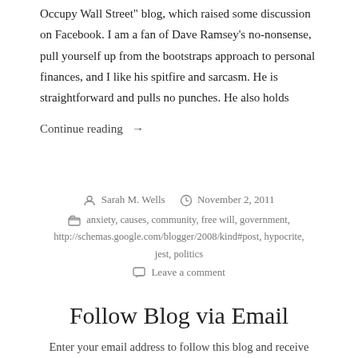Occupy Wall Street blog, which raised some discussion on Facebook. I am a fan of Dave Ramsey's no-nonsense, pull yourself up from the bootstraps approach to personal finances, and I like his spitfire and sarcasm. He is straightforward and pulls no punches. He also holds
Continue reading →
Sarah M. Wells  November 2, 2011
anxiety, causes, community, free will, government, http://schemas.google.com/blogger/2008/kind#post, hypocrite, jest, politics
Leave a comment
Follow Blog via Email
Enter your email address to follow this blog and receive notifications of new posts by